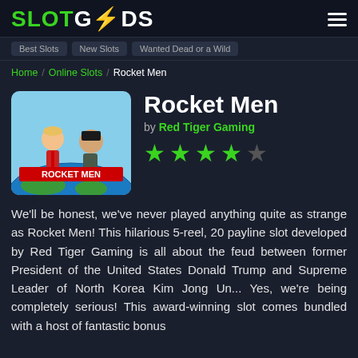[Figure (logo): SlotGods logo with green SLOT text, white GODS text, and orange lightning bolt icon]
Home / Online Slots / Rocket Men
[Figure (illustration): Rocket Men slot game thumbnail showing cartoon caricatures of Donald Trump and Kim Jong Un standing in front of a globe, with ROCKET MEN text in red]
Rocket Men
by Red Tiger Gaming
4 out of 5 stars rating
We'll be honest, we've never played anything quite as strange as Rocket Men! This hilarious 5-reel, 20 payline slot developed by Red Tiger Gaming is all about the feud between former President of the United States Donald Trump and Supreme Leader of North Korea Kim Jong Un... Yes, we're being completely serious! This award-winning slot comes bundled with a host of fantastic bonus